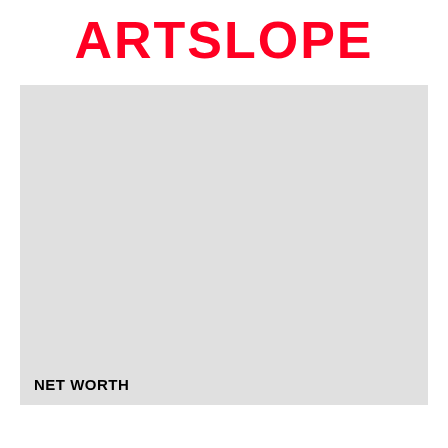ARTSLOPE
[Figure (other): Large light gray rectangular image placeholder occupying most of the page]
NET WORTH